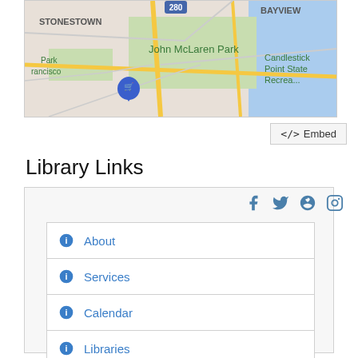[Figure (map): Google Maps screenshot showing San Francisco neighborhoods including Stonestown, Bayview, John McLaren Park, and Candlestick Point State Recreation area with a shopping cart pin marker]
</> Embed
Library Links
About
Services
Calendar
Libraries